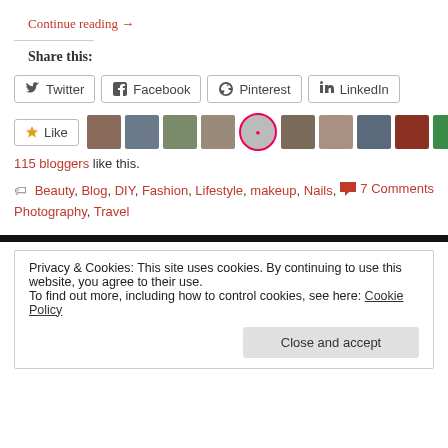Continue reading →
Share this:
Twitter  Facebook  Pinterest  LinkedIn
115 bloggers like this.
Beauty, Blog, DIY, Fashion, Lifestyle, makeup, Nails, Photography, Travel   7 Comments
Privacy & Cookies: This site uses cookies. By continuing to use this website, you agree to their use.
To find out more, including how to control cookies, see here: Cookie Policy
Close and accept